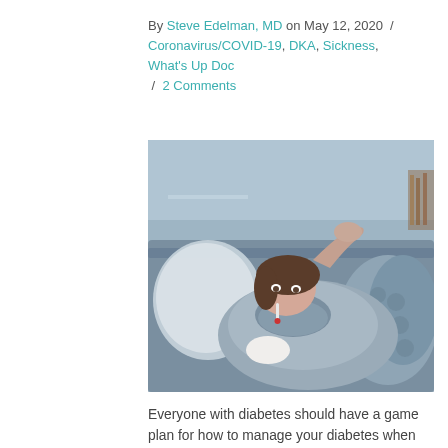By Steve Edelman, MD on May 12, 2020 / Coronavirus/COVID-19, DKA, Sickness, What's Up Doc / 2 Comments
[Figure (photo): Woman lying on sofa looking ill, with thermometer in mouth, wearing grey knit scarf, holding tissue, with chunky knit blanket]
Everyone with diabetes should have a game plan for how to manage your diabetes when you're sick. It's especially important right now as we navigate through the COVID-19 pandemic.
read more →